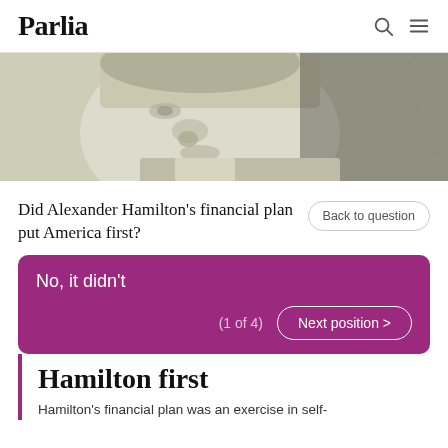Parlia
[Figure (illustration): Close-up engraving-style portrait of Alexander Hamilton from currency, showing his face and shoulder, rendered in black and white cross-hatch style against a light greenish-gray background.]
Did Alexander Hamilton's financial plan put America first?
Back to question
No, it didn't
(1 of 4)
Next position >
Hamilton first
Hamilton's financial plan was an exercise in self-